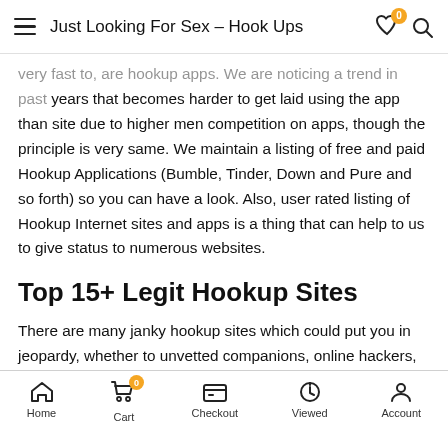Just Looking For Sex – Hook Ups
very fast to, are hookup apps. We are noticing a trend in past years that becomes harder to get laid using the app than site due to higher men competition on apps, though the principle is very same. We maintain a listing of free and paid Hookup Applications (Bumble, Tinder, Down and Pure and so forth) so you can have a look. Also, user rated listing of Hookup Internet sites and apps is a thing that can help to us to give status to numerous websites.
Top 15+ Legit Hookup Sites
There are many janky hookup sites which could put you in jeopardy, whether to unvetted companions, online hackers, or identity thieves. However when you join the correct websites, you minimize the dangers associated with casual hookups.
Home  Cart  Checkout  Viewed  Account